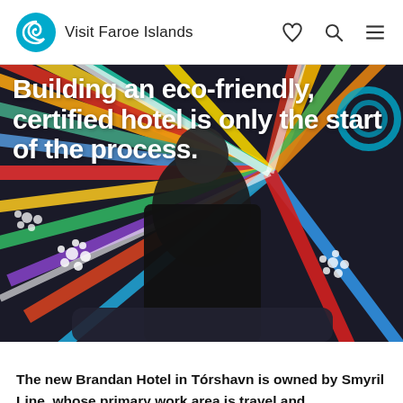Visit Faroe Islands
[Figure (photo): A bald man in a black turtleneck and black jacket stands in front of a colorful radial burst artwork with flower motifs. White bold text overlays the image reading: Building an eco-friendly, certified hotel is only the start of the process.]
Building an eco-friendly, certified hotel is only the start of the process.
The new Brandan Hotel in Tórshavn is owned by Smyril Line, whose primary work area is travel and